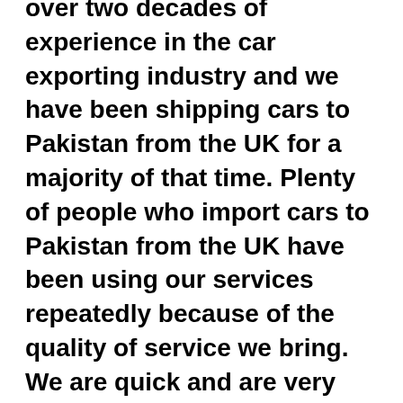over two decades of experience in the car exporting industry and we have been shipping cars to Pakistan from the UK for a majority of that time. Plenty of people who import cars to Pakistan from the UK have been using our services repeatedly because of the quality of service we bring. We are quick and are very efficient and the prices of our vehicles are unmatchable.
We have a wide array of used and brand new vehicles to choose from in our stock and we specialize in shipping sports cars and luxury vehicles. If you want to import a car that we don't have, please let us know and we will find the vehicle and ship it to